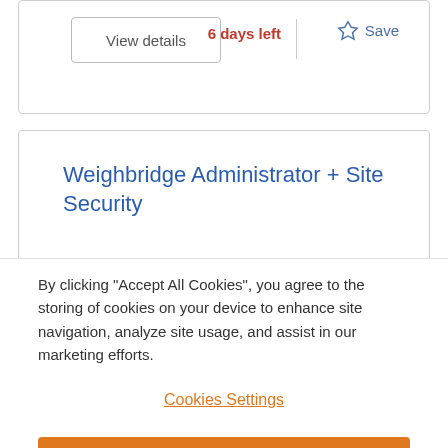View details
6 days left
Save
Weighbridge Administrator + Site Security
Sheffield, South Yorkshire
By clicking “Accept All Cookies”, you agree to the storing of cookies on your device to enhance site navigation, analyze site usage, and assist in our marketing efforts.
Cookies Settings
Reject All
Accept All Cookies